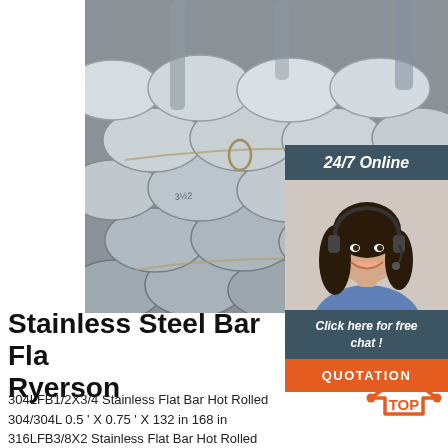[Figure (photo): Stack of stainless steel round bars/rods bundled with wire, viewed from the ends, showing circular cross-sections with markings.]
[Figure (photo): 24/7 Online chat support panel with a smiling woman wearing a headset, with 'Click here for free chat!' text and an orange QUOTATION button.]
Stainless Steel Bar Flat Ryerson
304LFB1/2X3/4 Stainless Flat Bar Hot Rolled 304/304L 0.5 ' X 0.75 ' X 132 in 168 in
316LFB3/8X2 Stainless Flat Bar Hot Rolled 316/316L 0.375 ' X 2 ' X 144/304LFB3/8X1/2